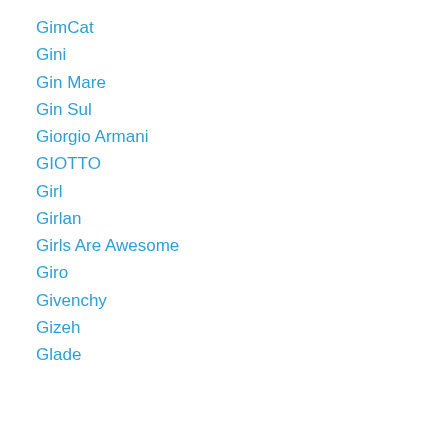GimCat
Gini
Gin Mare
Gin Sul
Giorgio Armani
GIOTTO
Girl
Girlan
Girls Are Awesome
Giro
Givenchy
Gizeh
Glade